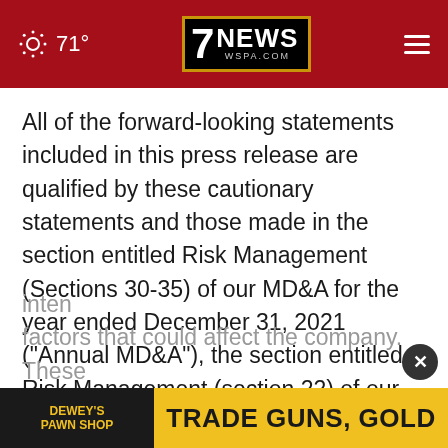71° — 7 NEWS WSPA.COM
All of the forward-looking statements included in this press release are qualified by these cautionary statements and those made in the section entitled Risk Management (Sections 30-35) of our MD&A for the year ended December 31, 2021 ("Annual MD&A"), the section entitled Risk Management (section 22) of our MD&A for the quarter ended March 31, 2022 and elsewhere in this press release. These factors are intentionally not an exhaustive list of factors that could affect the company. These
[Figure (screenshot): Advertisement overlay: Dewey's Pawn Shop — TRADE GUNS, GOLD]